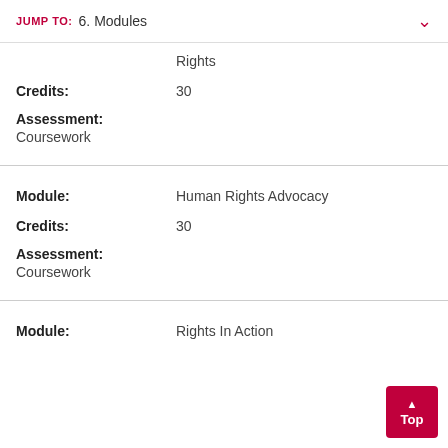JUMP TO: 6. Modules
Rights
Credits: 30
Assessment: Coursework
Module: Human Rights Advocacy
Credits: 30
Assessment: Coursework
Module: Rights In Action